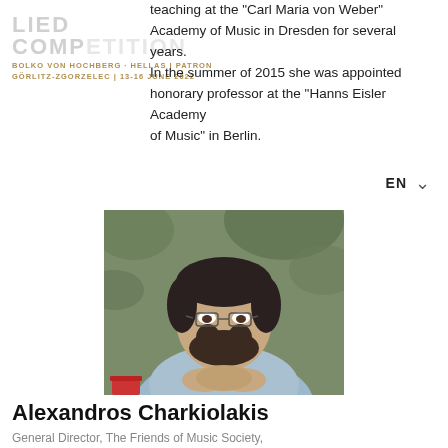LIED COMPETITION
BOLKO VON HOCHBERG · HELLAS I PATRON
GÖRLITZ-ZGORZELEC | 13-16 JUNE 2022
teaching at the "Carl Maria von Weber" Academy of Music in Dresden for several years. In the summer of 2015 she was appointed honorary professor at the "Hanns Eisler Academy of Music" in Berlin.
[Figure (photo): Portrait photo of Alexandros Charkiolakis, a bearded man with glasses wearing a light blue striped shirt, hands clasped, seated outdoors with green foliage background.]
Alexandros Charkiolakis
General Director, The Friends of Music Society, Megaron Musikis Athinon
Alexandros Charkiolakis studied at the Greek